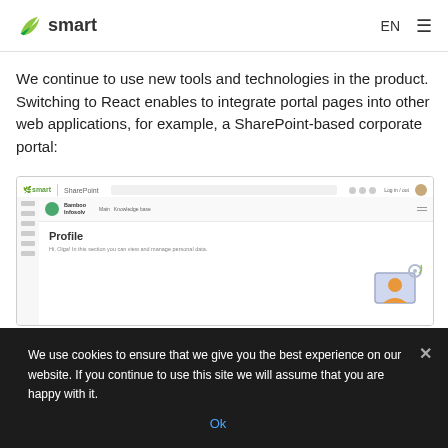smart EN ☰
We continue to use new tools and technologies in the product. Switching to React enables to integrate portal pages into other web applications, for example, a SharePoint-based corporate portal:
[Figure (screenshot): Screenshot of smart portal integrated into a SharePoint-based corporate portal, showing a profile page with navigation sidebar and company branding.]
We use cookies to ensure that we give you the best experience on our website. If you continue to use this site we will assume that you are happy with it.
Ok